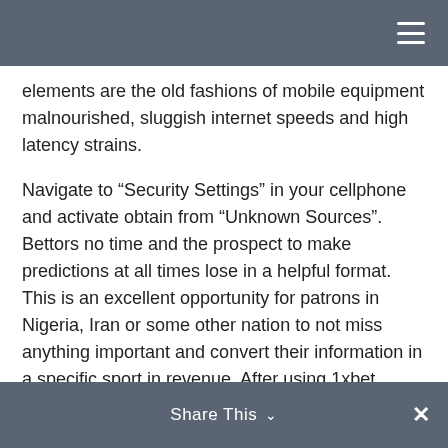elements are the old fashions of mobile equipment malnourished, sluggish internet speeds and high latency strains.
Navigate to “Security Settings” in your cellphone and activate obtain from “Unknown Sources”. Bettors no time and the prospect to make predictions at all times lose in a helpful format. This is an excellent opportunity for patrons in Nigeria, Iran or some other nation to not miss anything important and convert their information in a specific sport in revenue. After using 1xbet downloading the equipment, paris world open for you a complete new perspective. If you wish to completely explore all of the markets obtainable for any occasion (and 1xBet there may be tons of!) Click on the quantity beneath the “+” button. This will open personal page
Share This